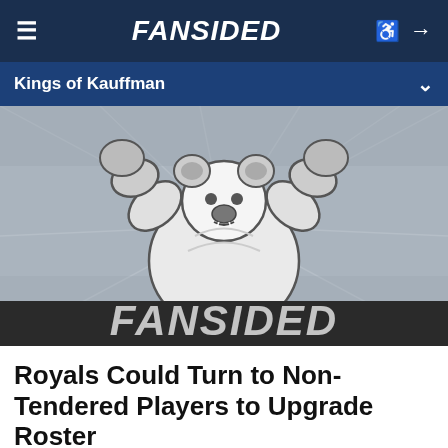FANSIDED
Kings of Kauffman
[Figure (logo): FanSided mascot logo — a white bear or lion figure with arms raised, flexing, displayed in grayscale over a stadium background. The word FANSIDED appears in large italic block letters at the bottom of the image.]
Royals Could Turn to Non-Tendered Players to Upgrade Roster